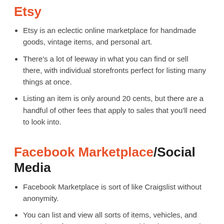Etsy
Etsy is an eclectic online marketplace for handmade goods, vintage items, and personal art.
There's a lot of leeway in what you can find or sell there, with individual storefronts perfect for listing many things at once.
Listing an item is only around 20 cents, but there are a handful of other fees that apply to sales that you'll need to look into.
Facebook Marketplace/Social Media
Facebook Marketplace is sort of like Craigslist without anonymity.
You can list and view all sorts of items, vehicles, and rentals. It's free to post almost anything, but you need a Facebook account.
Although other social media doesn't have a free, built-in marketplace for users, you can still leverage networks and